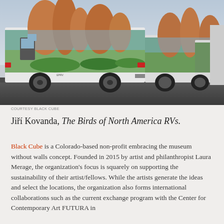[Figure (photo): Row of white RVs/motor homes with colorful landscape wraps showing red rock desert formations on their sides, photographed from behind in a parking lot.]
COURTESY BLACK CUBE
Jiří Kovanda, The Birds of North America RVs.
Black Cube is a Colorado-based non-profit embracing the museum without walls concept. Founded in 2015 by artist and philanthropist Laura Merage, the organization's focus is squarely on supporting the sustainability of their artist/fellows. While the artists generate the ideas and select the locations, the organization also forms international collaborations such as the current exchange program with the Center for Contemporary Art FUTURA in